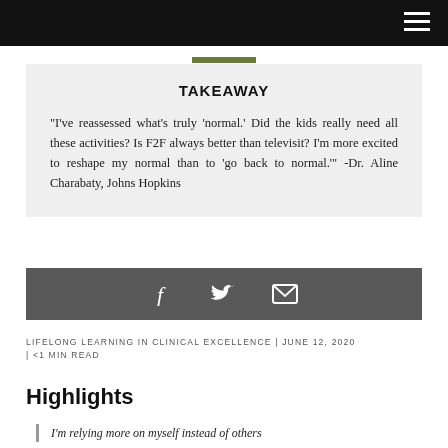TAKEAWAY
"I've reassessed what's truly 'normal.' Did the kids really need all these activities? Is F2F always better than televisit? I'm more excited to reshape my normal than to 'go back to normal.'" -Dr. Aline Charabaty, Johns Hopkins
[Figure (infographic): Social sharing icons: Facebook (f), Twitter (bird), Email (envelope) on dark grey background]
LIFELONG LEARNING IN CLINICAL EXCELLENCE | JUNE 12, 2020 | <1 MIN READ
Highlights
I'm relying more on myself instead of others